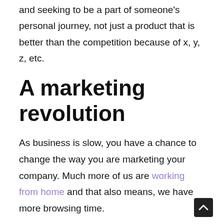and seeking to be a part of someone's personal journey, not just a product that is better than the competition because of x, y, z, etc.
A marketing revolution
As business is slow, you have a chance to change the way you are marketing your company. Much more of us are working from home and that also means, we have more browsing time.
Usually, when trying to overhaul a website, it could take months for the customers to get used to it. But, with a modern and skilled marketing agency, you can make a brand new, crisp, user-